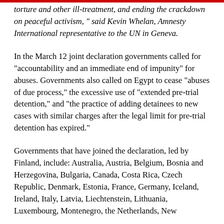torture and other ill-treatment, and ending the crackdown on peaceful activism, " said Kevin Whelan, Amnesty International representative to the UN in Geneva.
In the March 12 joint declaration governments called for “accountability and an immediate end of impunity” for abuses. Governments also called on Egypt to cease “abuses of due process,” the excessive use of “extended pre-trial detention,” and “the practice of adding detainees to new cases with similar charges after the legal limit for pre-trial detention has expired.”
Governments that have joined the declaration, led by Finland, include: Australia, Austria, Belgium, Bosnia and Herzegovina, Bulgaria, Canada, Costa Rica, Czech Republic, Denmark, Estonia, France, Germany, Iceland, Ireland, Italy, Latvia, Liechtenstein, Lithuania, Luxembourg, Montenegro, the Netherlands, New